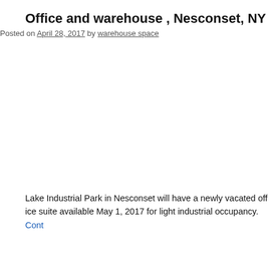Office and warehouse , Nesconset, NY (1...
Posted on April 28, 2017 by warehouse space
[Figure (photo): Blank/white image area — property photo not visible in this crop]
Lake Industrial Park in Nesconset will have a newly vacated office suite available May 1, 2017 for light industrial occupancy. Cont...